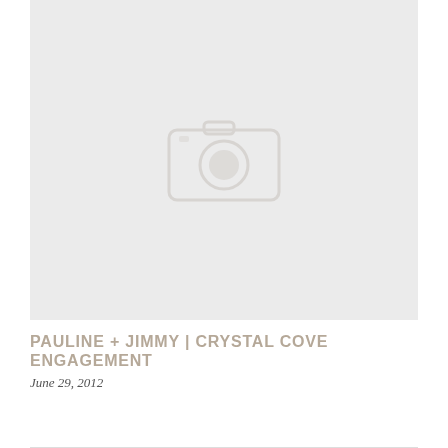[Figure (photo): Placeholder image block with a camera icon in the center on a light gray background]
PAULINE + JIMMY | CRYSTAL COVE ENGAGEMENT
June 29, 2012